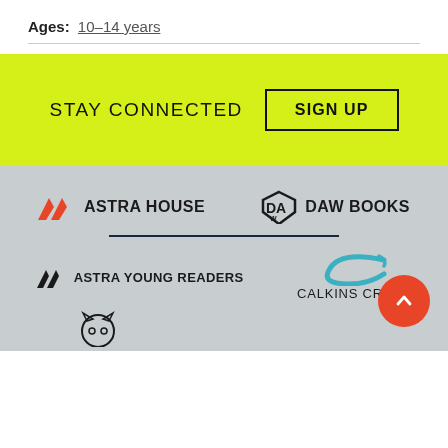Ages: 10-14 years
STAY CONNECTED
SIGN UP
[Figure (logo): Astra House publisher logo with red chevron/mountain icon and bold text]
[Figure (logo): DAW Books publisher logo with stylized DA shield icon]
[Figure (logo): Astra Young Readers publisher logo with dark chevron icon]
[Figure (logo): Calkins Creek publisher logo with teal curved C icon]
[Figure (logo): Partial cat/owl mascot logo at bottom left]
[Figure (other): Orange circular scroll-to-top button with upward chevron]